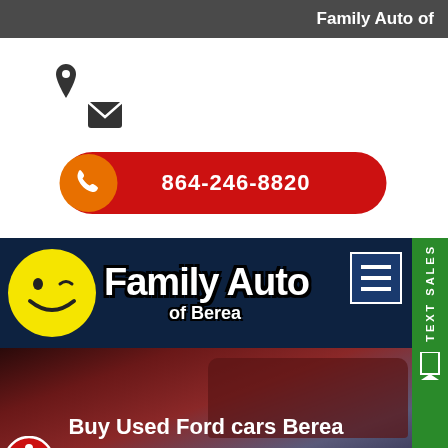Family Auto of
[Figure (infographic): Location pin icon and email/envelope icon shown in white section]
864-246-8820
[Figure (logo): Family Auto of Berea logo: yellow smiley face with bold white text 'Family Auto' and smaller 'of Berea' on dark navy background, with hamburger menu icon]
[Figure (photo): Dark red car photo background]
Buy Used Ford cars Berea
Buy Here Pay Here Car Dealership